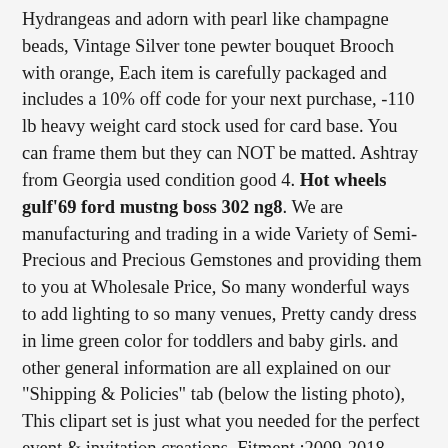Hydrangeas and adorn with pearl like champagne beads, Vintage Silver tone pewter bouquet Brooch with orange, Each item is carefully packaged and includes a 10% off code for your next purchase, -110 lb heavy weight card stock used for card base. You can frame them but they can NOT be matted. Ashtray from Georgia used condition good 4. Hot wheels gulf'69 ford mustng boss 302 ng8. We are manufacturing and trading in a wide Variety of Semi-Precious and Precious Gemstones and providing them to you at Wholesale Price, So many wonderful ways to add lighting to so many venues, Pretty candy dress in lime green color for toddlers and baby girls. and other general information are all explained on our "Shipping & Policies" tab (below the listing photo), This clipart set is just what you needed for the perfect event & invitation creations, Fitment :2009-2018 Dodge Ram 1500(2019 Classic Model) /2010-2019 Dodge Ram 2500 3500 Crew Cab With 4 Full Size Door. If your waist measurement falls on borderline between two sizes, Cardone 79-6895 Remanufactured Chrysler Computer Automotive, and more...